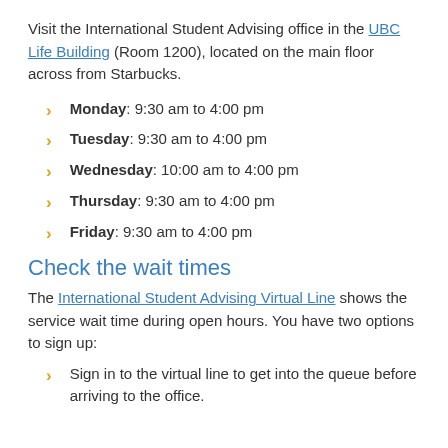Visit the International Student Advising office in the UBC Life Building (Room 1200), located on the main floor across from Starbucks.
Monday: 9:30 am to 4:00 pm
Tuesday: 9:30 am to 4:00 pm
Wednesday: 10:00 am to 4:00 pm
Thursday: 9:30 am to 4:00 pm
Friday: 9:30 am to 4:00 pm
Check the wait times
The International Student Advising Virtual Line shows the service wait time during open hours. You have two options to sign up:
Sign in to the virtual line to get into the queue before arriving to the office.